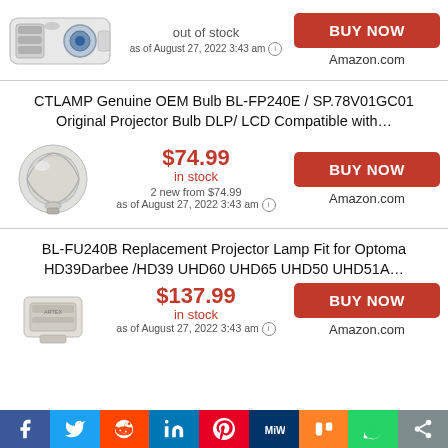[Figure (photo): Projector image - white DLP projector]
out of stock
as of August 27, 2022 3:43 am
BUY NOW
Amazon.com
CTLAMP Genuine OEM Bulb BL-FP240E / SP.78V01GC01 Original Projector Bulb DLP/ LCD Compatible with…
[Figure (photo): Projector bulb - silver metallic lamp bulb]
$74.99
in stock
2 new from $74.99
as of August 27, 2022 3:43 am
BUY NOW
Amazon.com
BL-FU240B Replacement Projector Lamp Fit for Optoma HD39Darbee /HD39 UHD60 UHD65 UHD50 UHD51A…
[Figure (photo): Projector lamp with ARTEX branding]
$137.99
in stock
as of August 27, 2022 3:43 am
BUY NOW
Amazon.com
[Figure (infographic): Social media sharing bar with icons: Facebook, Twitter, Reddit, LinkedIn, Pinterest, MeWe, Mix, WhatsApp, Share]